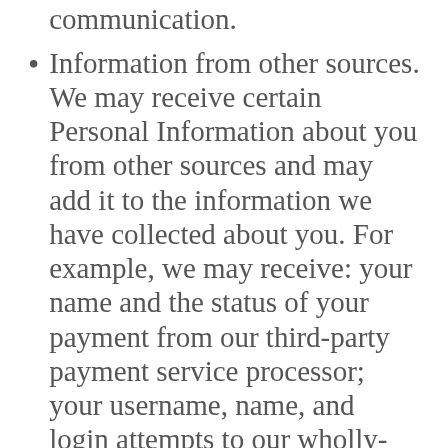communication.
Information from other sources. We may receive certain Personal Information about you from other sources and may add it to the information we have collected about you. For example, we may receive: your name and the status of your payment from our third-party payment service processor; your username, name, and login attempts to our wholly-owned multiple listing service through our MLS system provider; your name, firm name, and contact information when you register for OKCMAR events through our event registration provider; your name, license number, and contact information when